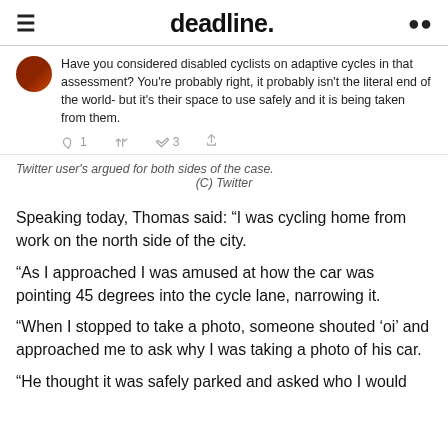deadline.
[Figure (screenshot): Tweet screenshot showing text: 'Have you considered disabled cyclists on adaptive cycles in that assessment? You're probably right, it probably isn't the literal end of the world- but it's their space to use safely and it is being taken from them.' with reply count 1, retweet icon, 3 likes, and share icon.]
Twitter user's argued for both sides of the case.
(C) Twitter
Speaking today, Thomas said: “I was cycling home from work on the north side of the city.
“As I approached I was amused at how the car was pointing 45 degrees into the cycle lane, narrowing it.
“When I stopped to take a photo, someone shouted ‘oi’ and approached me to ask why I was taking a photo of his car.
“He thought it was safely parked and asked who I would